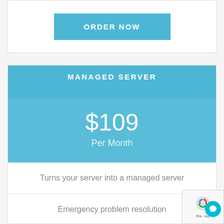ORDER NOW
MANAGED SERVER
$109
Per Month
Turns your server into a managed server
Emergency problem resolution
System optimization